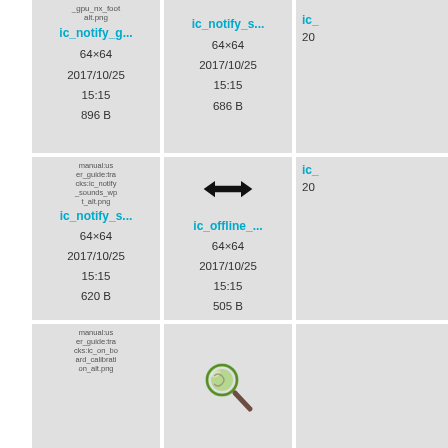[Figure (screenshot): File browser grid showing icon thumbnails with names, dimensions, dates, and sizes. Row 1: ic_notify_g... (64x64, 2017/10/25 15:15, 896 B), ic_notify_s... (64x64, 2017/10/25 15:15, 686 B), partially visible third item. Row 2: ic_notify_s... with broken image placeholder (64x64, 2017/10/25 15:15, 620 B), ic_offline_... with arrow icon (64x64, 2017/10/25 15:15, 505 B), partially visible third. Row 3: broken image placeholder for ic_on_board_calibration_alt.png, magnifier icon, partially visible third.]